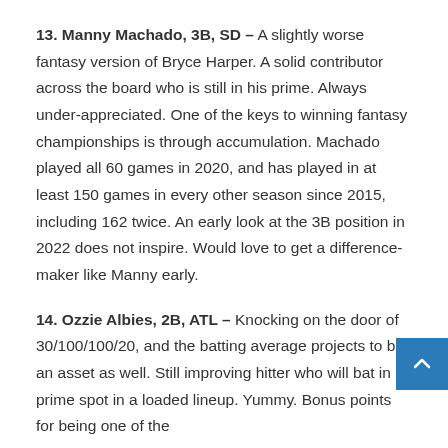13. Manny Machado, 3B, SD – A slightly worse fantasy version of Bryce Harper. A solid contributor across the board who is still in his prime. Always under-appreciated. One of the keys to winning fantasy championships is through accumulation. Machado played all 60 games in 2020, and has played in at least 150 games in every other season since 2015, including 162 twice. An early look at the 3B position in 2022 does not inspire. Would love to get a difference-maker like Manny early.
14. Ozzie Albies, 2B, ATL – Knocking on the door of 30/100/100/20, and the batting average projects to be an asset as well. Still improving hitter who will bat in a prime spot in a loaded lineup. Yummy. Bonus points for being one of the